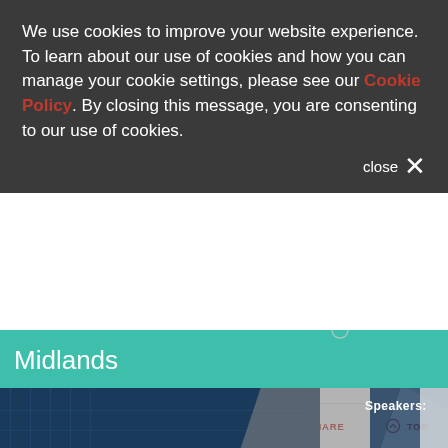We use cookies to improve your website experience. To learn about our use of cookies and how you can manage your cookie settings, please see our Cookie Policy. By closing this message, you are consenting to our use of cookies.
close ×
[Figure (screenshot): Hero image showing a green banner with 'Midlands' text overlaid on a photo of modern buildings with geometric shapes. 'Speakers:' text is visible on the right side of the image.]
West Midlands
[Figure (other): Gray placeholder content area]
RSA LOUNGE   CONTACT US   SHARE   TOP